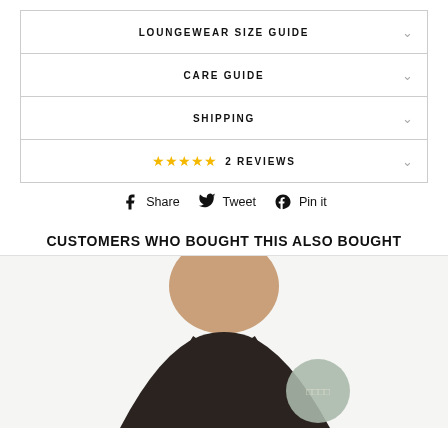LOUNGEWEAR SIZE GUIDE
CARE GUIDE
SHIPPING
★★★★★ 2 REVIEWS
Share  Tweet  Pin it
CUSTOMERS WHO BOUGHT THIS ALSO BOUGHT
[Figure (photo): Woman wearing dark spaghetti strap top, cropped at neck/chest level, with a sage green circular badge overlay in bottom right area]